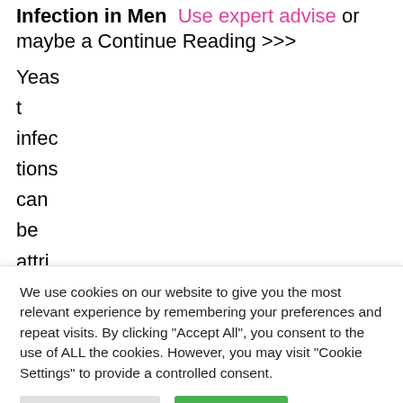Infection in Men  Use expert advise or maybe a Continue Reading >>>
Yeast
t
infec
tions
can
be
attri
bu...
We use cookies on our website to give you the most relevant experience by remembering your preferences and repeat visits. By clicking "Accept All", you consent to the use of ALL the cookies. However, you may visit "Cookie Settings" to provide a controlled consent.